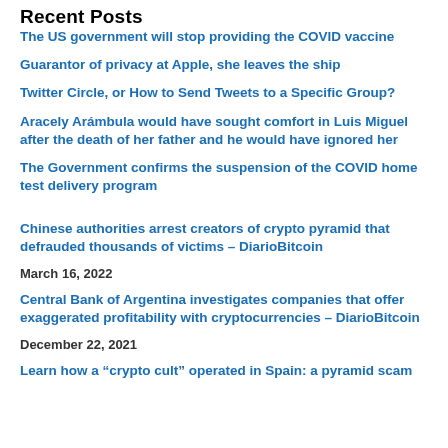Recent Posts
The US government will stop providing the COVID vaccine
Guarantor of privacy at Apple, she leaves the ship
Twitter Circle, or How to Send Tweets to a Specific Group?
Aracely Arámbula would have sought comfort in Luis Miguel after the death of her father and he would have ignored her
The Government confirms the suspension of the COVID home test delivery program
Chinese authorities arrest creators of crypto pyramid that defrauded thousands of victims – DiarioBitcoin
March 16, 2022
Central Bank of Argentina investigates companies that offer exaggerated profitability with cryptocurrencies – DiarioBitcoin
December 22, 2021
Learn how a “crypto cult” operated in Spain: a pyramid scam